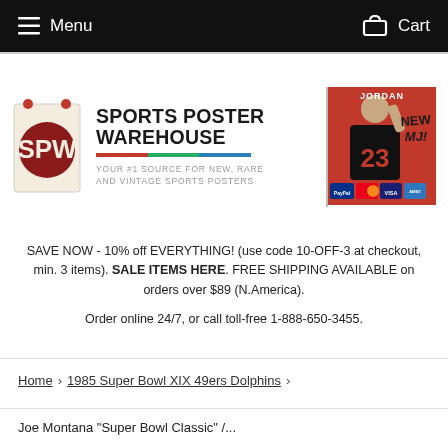Menu   Cart
[Figure (logo): Sports Poster Warehouse logo with SPW poster icon, bold text 'SPORTS POSTER WAREHOUSE', tagline 'YOUR #1 SOURCE FOR NEW, RARE AND VINTAGE SPORTS POSTERS', and a Michael Jordan #23 promo image with 'NEW MJ!' text and payment icons (PayPal, Mastercard, Visa, Amex)]
SAVE NOW - 10% off EVERYTHING! (use code 10-OFF-3 at checkout, min. 3 items). SALE ITEMS HERE. FREE SHIPPING AVAILABLE on orders over $89 (N.America).
Order online 24/7, or call toll-free 1-888-650-3455.
Home › 1985 Super Bowl XIX 49ers Dolphins ›
Joe Montana "Super Bowl Classic" /...